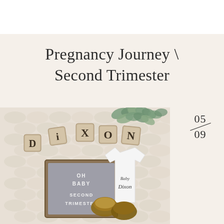Pregnancy Journey \ Second Trimester
[Figure (photo): Flat lay photo showing baby items: wooden letter tiles spelling DIXON, a gray letter board reading OH BABY SECOND TRIMESTER, a white onesie with Baby Dixon written on it, small brown baby boots, and eucalyptus leaves, all on a chunky knit blanket.]
05/09